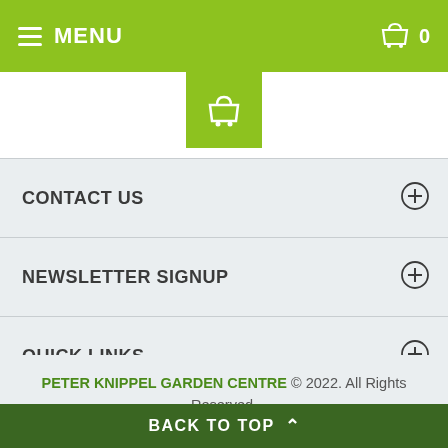MENU | Cart: 0
[Figure (illustration): Green shopping basket icon centered below nav bar]
CONTACT US
NEWSLETTER SIGNUP
QUICK LINKS
THE KNIPPEL DIFFERENCE
PETER KNIPPEL GARDEN CENTRE © 2022. All Rights Reserved.
BACK TO TOP ^